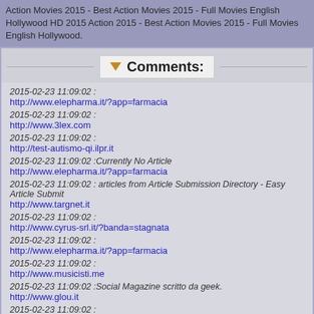Action Movies 2015 - Best Action Movies 2015 - Full Movies English Hollywood HD 2015 Action 2015 - Best Action Movies 2015 - Full Movies English Hollywood.
Comments:
2015-02-23 11:09:02 :
http://www.elepharma.it/?app=farmacia
2015-02-23 11:09:02 :
http://www.3lex.com
2015-02-23 11:09:02 :
http://test-autismo-qi.ilpr.it
2015-02-23 11:09:02 :Currently No Article
http://www.elepharma.it/?app=farmacia
2015-02-23 11:09:02 : articles from Article Submission Directory - Easy Article Submit
http://www.targnet.it
2015-02-23 11:09:02 :
http://www.cyrus-srl.it/?banda=stagnata
2015-02-23 11:09:02 :
http://www.elepharma.it/?app=farmacia
2015-02-23 11:09:02 :
http://www.musicisti.me
2015-02-23 11:09:02 :Social Magazine scritto da geek.
http://www.glou.it
2015-02-23 11:09:02 :
http://www.elepharma.it/?app=farmacia
2015-02-23 11:09:02 :
http://www.elepharma.it/?app=farmacia
2015-02-23 11:09:02 :
http://www.elepharma.it/?app=farmacia
2015-02-23 11:09:02 :
http://www.elepharma.it/?app=farmacia
2015-02-23 11:09:02 :
http://www.materioteca.it/?materie=plastiche
2015-02-23 11:09:02 :
http://www.omniaflex.it/?q=Fabbrica-Materassi